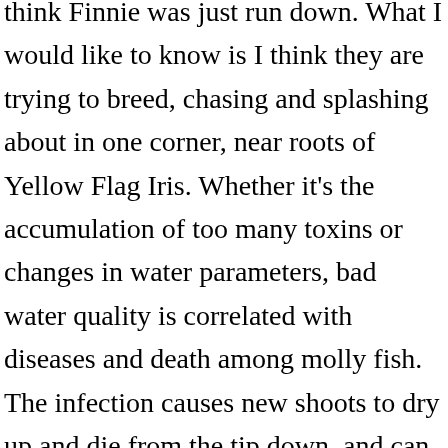think Finnie was just run down. What I would like to know is I think they are trying to breed, chasing and splashing about in one corner, near roots of Yellow Flag Iris. Whether it's the accumulation of too many toxins or changes in water parameters, bad water quality is correlated with diseases and death among molly fish. The infection causes new shoots to dry up and die from the tip down, and can attack the plant below the soil line. 31 Votes) Phytophthora is a soil-borne fungus that attacks the golden euonymus shrub from the ground up.